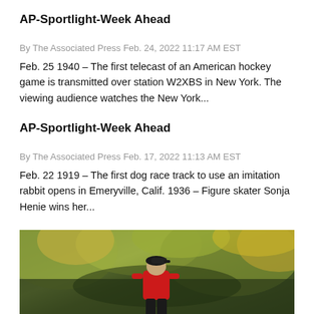AP-Sportlight-Week Ahead
By The Associated Press Feb. 24, 2022 11:17 AM EST
Feb. 25 1940 – The first telecast of an American hockey game is transmitted over station W2XBS in New York. The viewing audience watches the New York...
AP-Sportlight-Week Ahead
By The Associated Press Feb. 17, 2022 11:13 AM EST
Feb. 22 1919 – The first dog race track to use an imitation rabbit opens in Emeryville, Calif. 1936 – Figure skater Sonja Henie wins her...
[Figure (photo): Photo of a golfer in a red shirt and dark cap, standing on a golf course with green and golden foliage in the background.]